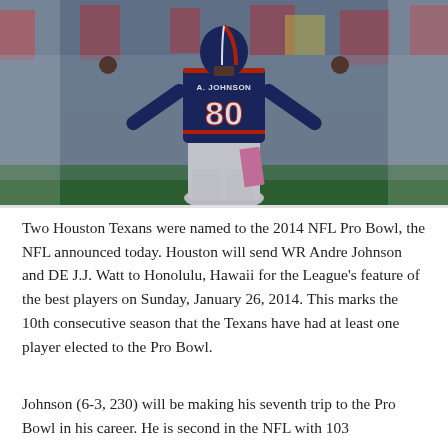[Figure (photo): Houston Texans WR Andre Johnson (#80) celebrating with arms raised, wearing navy blue jersey with name 'A. Johnson' and number 80, white pants with pink towel. Stadium crowd in background.]
Two Houston Texans were named to the 2014 NFL Pro Bowl, the NFL announced today. Houston will send WR Andre Johnson and DE J.J. Watt to Honolulu, Hawaii for the League's feature of the best players on Sunday, January 26, 2014. This marks the 10th consecutive season that the Texans have had at least one player elected to the Pro Bowl.
Johnson (6-3, 230) will be making his seventh trip to the Pro Bowl in his career. He is second in the NFL with 103